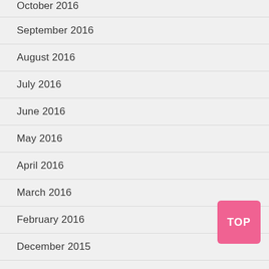October 2016
September 2016
August 2016
July 2016
June 2016
May 2016
April 2016
March 2016
February 2016
December 2015
November 2015
October 2015